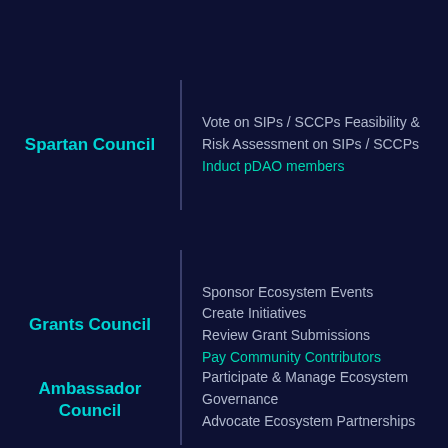Spartan Council
Vote on SIPs / SCCPs Feasibility & Risk Assessment on SIPs / SCCPs
Induct pDAO members
Grants Council
Sponsor Ecosystem Events
Create Initiatives
Review Grant Submissions
Pay Community Contributors
Ambassador Council
Participate & Manage Ecosystem Governance
Advocate Ecosystem Partnerships